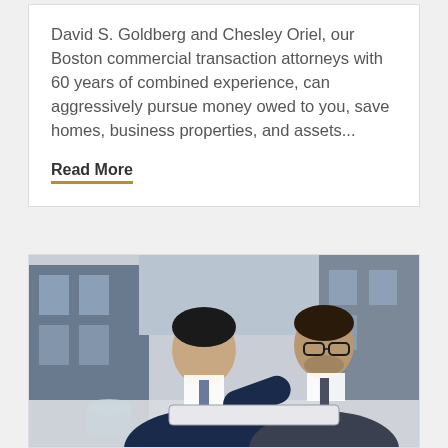David S. Goldberg and Chesley Oriel, our Boston commercial transaction attorneys with 60 years of combined experience, can aggressively pursue money owed to you, save homes, business properties, and assets...
Read More
[Figure (photo): Two businessmen in suits sitting at a table reviewing documents on a tablet, with a city building background]